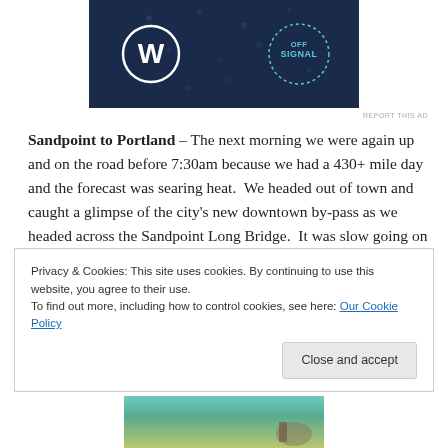[Figure (other): Advertisement banner with dark navy background, WordPress logo (W in circle) on left, and OpenSignal circular dotted badge on right]
REPORT THIS AD
Sandpoint to Portland – The next morning we were again up and on the road before 7:30am because we had a 430+ mile day and the forecast was searing heat.  We headed out of town and caught a glimpse of the city's new downtown by-pass as we headed across the Sandpoint Long Bridge.  It was slow going on Highway 95 to Coeur d'Alene, but we pick up speed once we connected with I-90 and then Highway 395 through the Washington State
Privacy & Cookies: This site uses cookies. By continuing to use this website, you agree to their use.
To find out more, including how to control cookies, see here: Our Cookie Policy
[Figure (photo): Partial bottom photo showing green and teal landscape/scenic image, partially cut off]